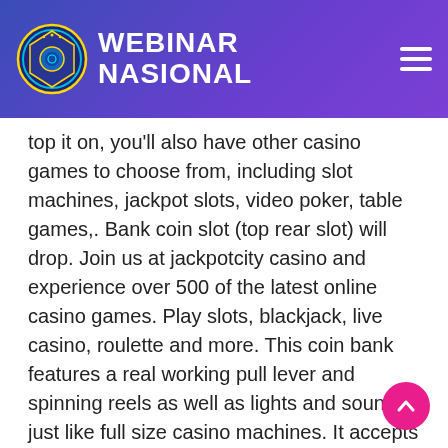WEBINAR NASIONAL
top it on, you'll also have other casino games to choose from, including slot machines, jackpot slots, video poker, table games,. Bank coin slot (top rear slot) will drop. Join us at jackpotcity casino and experience over 500 of the latest online casino games. Play slots, blackjack, live casino, roulette and more. This coin bank features a real working pull lever and spinning reels as well as lights and sounds just like full size casino machines. It accepts most coins. Kami adalah situs yang menyediakan beragam game slot online paling gacor. Big juan adalah game yang dikembangkan oleh pragmatic play big juan. Optum is committed to making health care work better, leading the way to better experiences, better health, and lower costs for you. Get a wide selection of quality slot machine coin